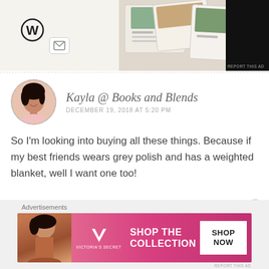[Figure (screenshot): Advertisement banner at top showing WordPress logo, inbox icon, and food/recipe images on a beige background with 'REPORT THIS AD' text]
Kayla @ Books and Blends
DECEMBER 19, 2018 AT 5:20 PM
So I'm looking into buying all these things. Because if my best friends wears grey polish and has a weighted blanket, well I want one too!
Liked by 1 person
[Figure (screenshot): Victoria's Secret advertisement banner showing a model, VS logo, 'SHOP THE COLLECTION' text, and 'SHOP NOW' button on a pink/red gradient background]